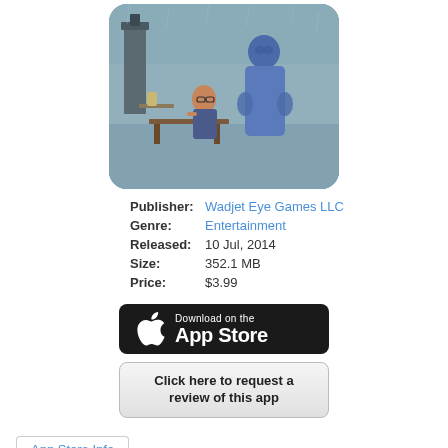[Figure (illustration): Game app icon illustration showing a woman with glasses sitting on a bench looking distressed, and a tall blue ghostly figure standing behind her, with a rainy outdoor scene and a clock tower in the background. Rounded corners on the image.]
Publisher: Wadjet Eye Games LLC
Genre: Entertainment
Released: 10 Jul, 2014
Size: 352.1 MB
Price: $3.99
[Figure (logo): Download on the App Store button — black rounded rectangle with Apple logo and text 'Download on the App Store']
Click here to request a review of this app
App Store Info
Description